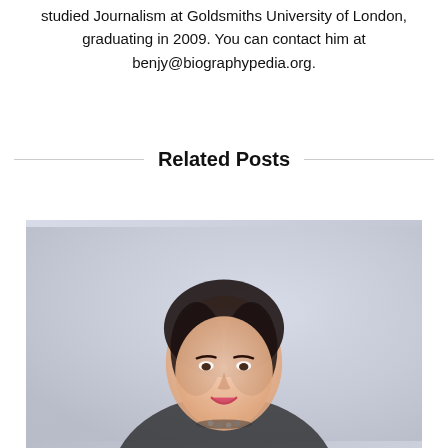studied Journalism at Goldsmiths University of London, graduating in 2009. You can contact him at benjy@biographypedia.org.
Related Posts
[Figure (photo): A smiling woman with dark hair wearing a dark top with a jeweled neckline, photographed against a light blue/grey background.]